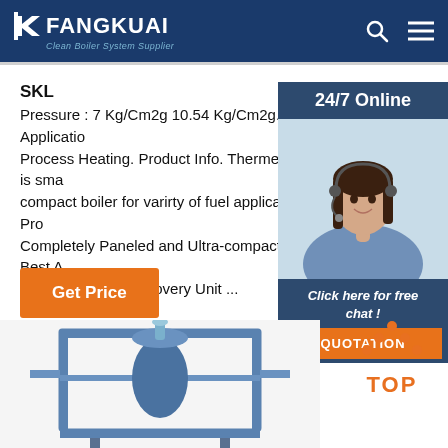FANGKUAI — Clean Boiler System Supplier
SKL
Pressure : 7 Kg/Cm2g 10.54 Kg/Cm2g. Application: Process Heating. Product Info. Thermeon is sma compact boiler for varirty of fuel application. Pro Completely Paneled and Ultra-compact – Best A Integrated Heat Recovery Unit ...
Get Price
[Figure (photo): Customer service agent — woman with headset smiling, with '24/7 Online' header and 'Click here for free chat!' and 'QUOTATION' button]
[Figure (illustration): TOP button with orange dots forming an upward arrow above the word TOP in orange]
[Figure (photo): Industrial boiler equipment — blue metal frame structure, partially visible at bottom of page]